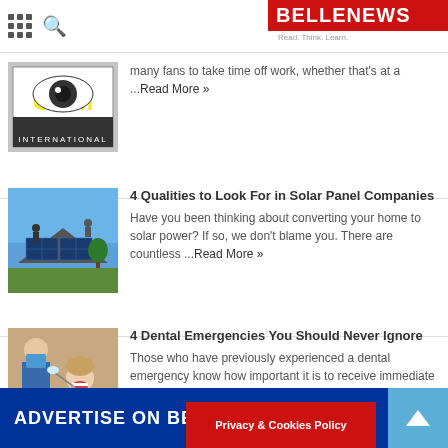BELLENEWS — Read. Think. Learn.
many fans to take time off work, whether that's at a ...Read More »
4 Qualities to Look For in Solar Panel Companies
Have you been thinking about converting your home to solar power? If so, we don't blame you. There are countless ...Read More »
4 Dental Emergencies You Should Never Ignore
Those who have previously experienced a dental emergency know how important it is to receive immediate dental care. Luckily, our ...Read More »
ADVERTISE ON BELLENEWS.COM
Privacy & Cookies Policy